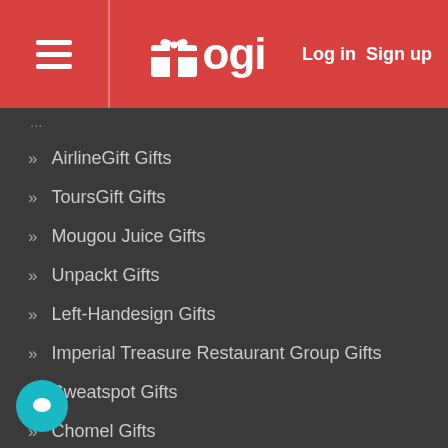Wogi — Log in  Sign up
AirlineGift Gifts
ToursGift Gifts
Mougou Juice Gifts
Unpackt Gifts
Left-Handesign Gifts
Imperial Treasure Restaurant Group Gifts
Sweatspot Gifts
Chomel Gifts
Scoop Wholefoods Gifts
TADA Gifts
ora Gifts